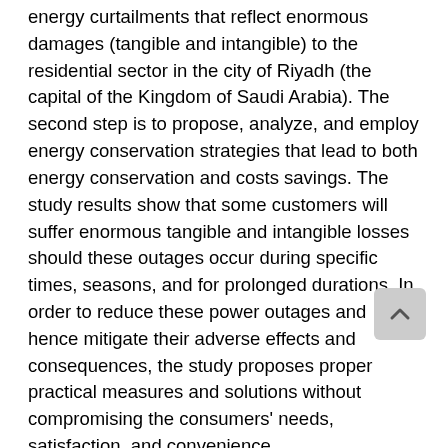energy curtailments that reflect enormous damages (tangible and intangible) to the residential sector in the city of Riyadh (the capital of the Kingdom of Saudi Arabia). The second step is to propose, analyze, and employ energy conservation strategies that lead to both energy conservation and costs savings. The study results show that some customers will suffer enormous tangible and intangible losses should these outages occur during specific times, seasons, and for prolonged durations. In order to reduce these power outages and hence mitigate their adverse effects and consequences, the study proposes proper practical measures and solutions without compromising the consumers' needs, satisfaction, and convenience.
Keywords: Power Outages, Energy Curtailment, Cost, Consumer, Energy Conservation
Cite this paper: Al-Shaalan, A. (2017) Investigating Practical Measures to Reduce Power Outages and Energy Curtailments Associated Power and Energy...